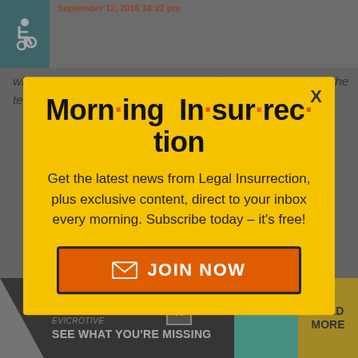who described the use of sisters as off and explained that the term
the bandwidth. Moxley says Trump is a...
[Figure (screenshot): Bottom advertisement banner: THE PERSPECTIVE - EVICROTIVE - SEE WHAT YOU'RE MISSING with READ MORE button]
[Figure (infographic): Morning Insurrection newsletter popup modal with yellow background. Title: Morn·ing In·sur·rec·tion. Body: Get the latest news from Legal Insurrection, plus exclusive content, direct to your inbox every morning. Subscribe today – it's free! Button: JOIN NOW with envelope icon. Close X in top right corner.]